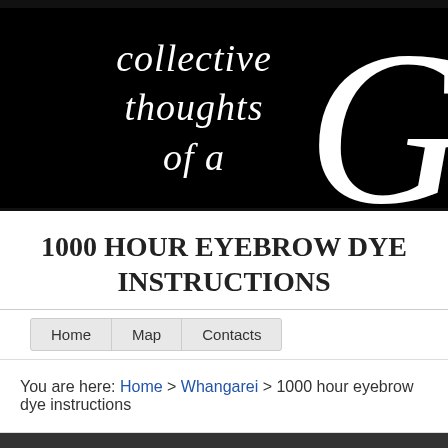[Figure (logo): Black banner with white cursive/italic script text reading 'collective thoughts of a' and a large decorative white letter G on the right side]
1000 HOUR EYEBROW DYE INSTRUCTIONS
Home | Map | Contacts
You are here: Home > Whangarei > 1000 hour eyebrow dye instructions